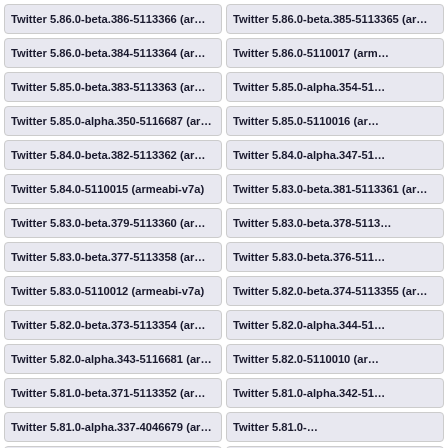Twitter 5.86.0-beta.386-5113366 (armeabi-v7a)
Twitter 5.86.0-beta.385-5113365 (armeabi-v7a)
Twitter 5.86.0-beta.384-5113364 (armeabi-v7a)
Twitter 5.86.0-5110017 (armeabi-v7a)
Twitter 5.85.0-beta.383-5113363 (armeabi-v7a)
Twitter 5.85.0-alpha.354-5113363 (armeabi-v7a)
Twitter 5.85.0-alpha.350-5116687 (armeabi-v7a)
Twitter 5.85.0-5110016 (armeabi-v7a)
Twitter 5.84.0-beta.382-5113362 (armeabi-v7a)
Twitter 5.84.0-alpha.347-5113362 (armeabi-v7a)
Twitter 5.84.0-5110015 (armeabi-v7a)
Twitter 5.83.0-beta.381-5113361 (armeabi-v7a)
Twitter 5.83.0-beta.379-5113360 (armeabi-v7a)
Twitter 5.83.0-beta.378-5113360 (armeabi-v7a)
Twitter 5.83.0-beta.377-5113358 (armeabi-v7a)
Twitter 5.83.0-beta.376-5113358 (armeabi-v7a)
Twitter 5.83.0-5110012 (armeabi-v7a)
Twitter 5.82.0-beta.374-5113355 (armeabi-v7a)
Twitter 5.82.0-beta.373-5113354 (armeabi-v7a)
Twitter 5.82.0-alpha.344-5113354 (armeabi-v7a)
Twitter 5.82.0-alpha.343-5116681 (armeabi-v7a)
Twitter 5.82.0-5110010 (armeabi-v7a)
Twitter 5.81.0-beta.371-5113352 (armeabi-v7a)
Twitter 5.81.0-alpha.342-5113352 (armeabi-v7a)
Twitter 5.81.0-alpha.337-4046679 (armeabi,armeabi-v7a,x86)
Twitter 5.81.0-...
Twitter 5.80.0-beta.370-4043351 (armeabi,armeabi-v7a,x86)
Twitter 5.80.0-...
Twitter 5.80.0-4040097 (armeabi,armeabi-v7a,x86)
Twitter 5.79.0-beta.369-...